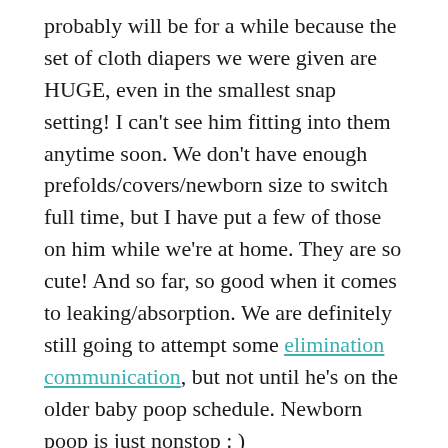probably will be for a while because the set of cloth diapers we were given are HUGE, even in the smallest snap setting! I can't see him fitting into them anytime soon. We don't have enough prefolds/covers/newborn size to switch full time, but I have put a few of those on him while we're at home. They are so cute! And so far, so good when it comes to leaking/absorption. We are definitely still going to attempt some elimination communication, but not until he's on the older baby poop schedule. Newborn poop is just nonstop : )

Why is it that all of the baby books are so confusing?! Breastfeeding Made Simple was